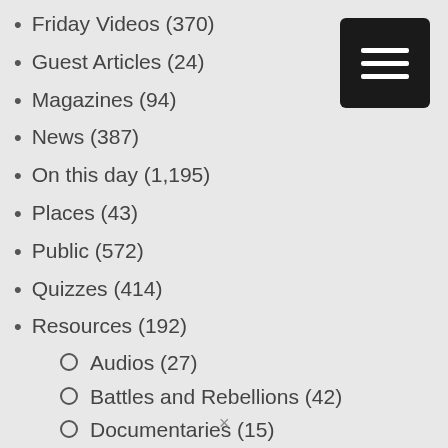Friday Videos (370)
Guest Articles (24)
Magazines (94)
News (387)
On this day (1,195)
Places (43)
Public (572)
Quizzes (414)
Resources (192)
Audios (27)
Battles and Rebellions (42)
Documentaries (15)
Expert answers (31)
Family Trees (3)
Primary Sources (50)
Recommended Reading (15)